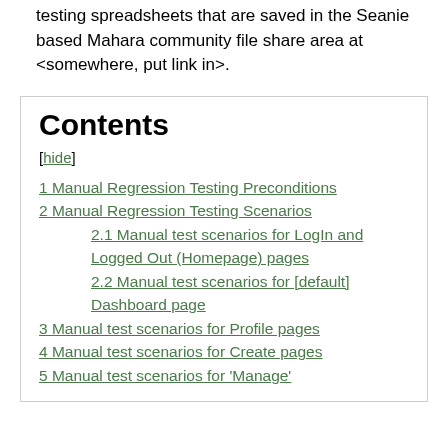testing spreadsheets that are saved in the Seanie based Mahara community file share area at <somewhere, put link in>.
Contents
[hide]
1 Manual Regression Testing Preconditions
2 Manual Regression Testing Scenarios
2.1 Manual test scenarios for LogIn and Logged Out (Homepage) pages
2.2 Manual test scenarios for [default] Dashboard page
3 Manual test scenarios for Profile pages
4 Manual test scenarios for Create pages
5 Manual test scenarios for 'Manage'